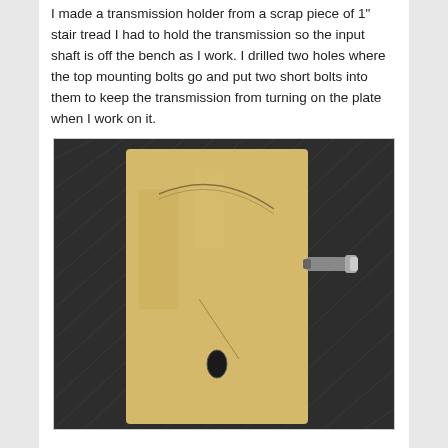I made a transmission holder from a scrap piece of 1" stair tread I had to hold the transmission so the input shaft is off the bench as I work. I drilled two holes where the top mounting bolts go and put two short bolts into them to keep the transmission from turning on the plate when I work on it.
[Figure (photo): Overhead photo of a rectangular wooden board (stair tread) sitting on a dark diamond-plate metal surface. The board has a drilled oval/elongated hole near its lower center, and arc/compass lines scratched or drawn on the surface. A ratchet or bolt tool is visible at the right edge of the board.]